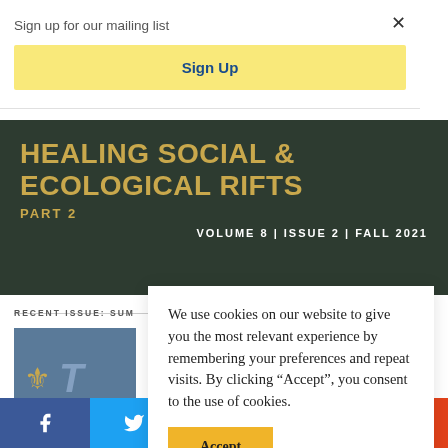Sign up for our mailing list
Sign Up
[Figure (screenshot): Dark green banner with gold text reading 'HEALING SOCIAL & ECOLOGICAL RIFTS PART 2' and 'VOLUME 8 | ISSUE 2 | FALL 2021']
RECENT ISSUE: SUM
[Figure (illustration): Thumbnail image with blue-grey background showing a gold ornamental symbol and partial large italic letter T]
We use cookies on our website to give you the most relevant experience by remembering your preferences and repeat visits. By clicking “Accept”, you consent to the use of cookies.
Accept
[Figure (infographic): Social share bar with Facebook, Twitter, email, Pinterest, and more buttons]